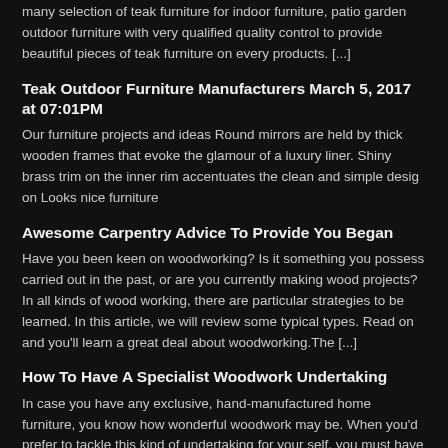many selection of teak furniture for indoor furniture, patio garden outdoor furniture with very qualified quality control to provide beautiful pieces of teak furniture on every products. [...]
Teak Outdoor Furniture Manufacturers March 5, 2017 at 07:01PM
Our furniture projects and ideas Round mirrors are held by thick wooden frames that evoke the glamour of a luxury liner. Shiny brass trim on the inner rim accentuates the clean and simple desig on Looks nice furniture
Awesome Carpentry Advice To Provide You Began
Have you been keen on woodworking? Is it something you possess carried out in the past, or are you currently making wood projects? In all kinds of wood working, there are particular strategies to be learned. In this article, we will review some typical types. Read on and you'll learn a great deal about woodworking.The [...]
How To Have A Specialist Woodwork Undertaking
In case you have any exclusive, hand-manufactured home furniture, you know how wonderful woodwork may be. When you'd prefer to tackle this kind of undertaking for your self, you must have the proper understanding in place in order to find achievement. This post offers you some tried and tested tips for your next project.Just before [...]